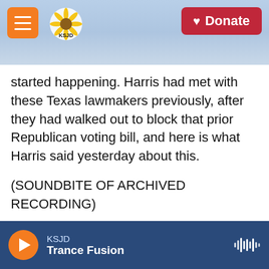[Figure (screenshot): KSJD radio website header with orange hamburger menu button, KSJD sunflower logo, and red Donate button, set against a blue mountain landscape background]
started happening. Harris had met with these Texas lawmakers previously, after they had walked out to block that prior Republican voting bill, and here is what Harris said yesterday about this.
(SOUNDBITE OF ARCHIVED RECORDING)
KAMALA HARRIS, BYLINE: I applaud them standing for the rights of all Americans and all Texans to express their voice through their vote, unencumbered.
DETROW: Harris put these lawmakers in pretty heady company, comparing them to 1960s civil
KSJD
Trance Fusion